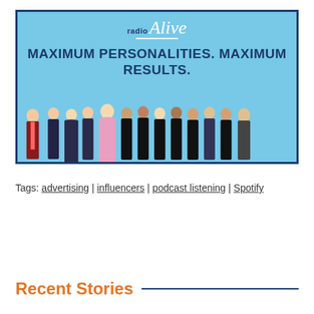[Figure (photo): Radio Alive advertisement banner with light blue background. Logo 'radioAlive' at top center. Bold dark blue text reads 'MAXIMUM PERSONALITIES. MAXIMUM RESULTS.' Group of about 13 radio personalities standing together at the bottom of the banner, dressed in formal and business attire.]
Tags: advertising | influencers | podcast listening | Spotify
Recent Stories